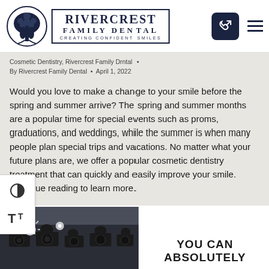[Figure (logo): Rivercrest Family Dental logo with tree illustration and text: RIVERCREST FAMILY DENTAL, CREATING CONFIDENT SMILES, plus phone icon button and hamburger menu]
Cosmetic Dentistry, Rivercrest Family Drntal •
By Rivercrest Family Dental • April 1, 2022
Would you love to make a change to your smile before the spring and summer arrive? The spring and summer months are a popular time for special events such as proms, graduations, and weddings, while the summer is when many people plan special trips and vacations. No matter what your future plans are, we offer a popular cosmetic dentistry treatment that can quickly and easily improve your smile. Continue reading to learn more.
[Figure (photo): Paparazzi photographers with cameras and flash lights]
YOU CAN ABSOLUTELY